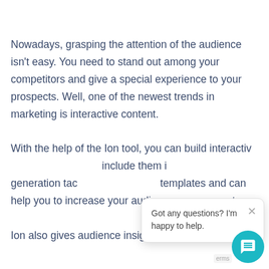Nowadays, grasping the attention of the audience isn't easy. You need to stand out among your competitors and give a special experience to your prospects. Well, one of the newest trends in marketing is interactive content.

With the help of the Ion tool, you can build interactive content pieces and include them in your lead generation tactic. It offers many templates and can help you to increase your audience engagement.

Ion also gives audience insights and you
Got any questions? I'm happy to help.